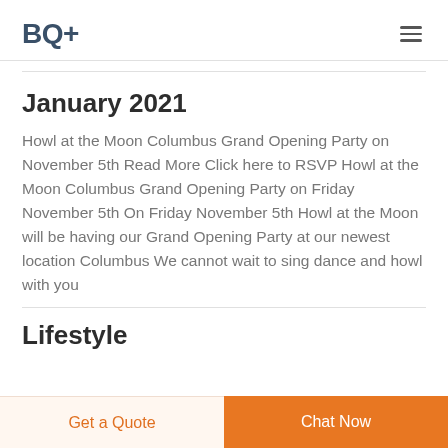BQ+
January 2021
Howl at the Moon Columbus Grand Opening Party on November 5th Read More Click here to RSVP Howl at the Moon Columbus Grand Opening Party on Friday November 5th On Friday November 5th Howl at the Moon will be having our Grand Opening Party at our newest location Columbus We cannot wait to sing dance and howl with you
Lifestyle